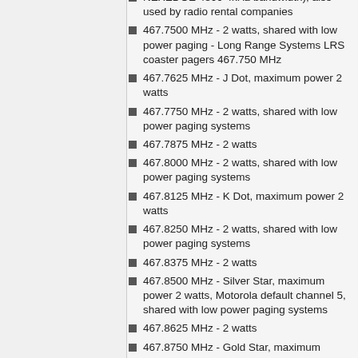NEXEDGE 4800 4kHz bandwidth); also used by radio rental companies
467.7500 MHz - 2 watts, shared with low power paging - Long Range Systems LRS coaster pagers 467.750 MHz
467.7625 MHz - J Dot, maximum power 2 watts
467.7750 MHz - 2 watts, shared with low power paging systems
467.7875 MHz - 2 watts
467.8000 MHz - 2 watts, shared with low power paging systems
467.8125 MHz - K Dot, maximum power 2 watts
467.8250 MHz - 2 watts, shared with low power paging systems
467.8375 MHz - 2 watts
467.8500 MHz - Silver Star, maximum power 2 watts, Motorola default channel 5, shared with low power paging systems
467.8625 MHz - 2 watts
467.8750 MHz - Gold Star, maximum power 2 watts, Motorola default channel 6